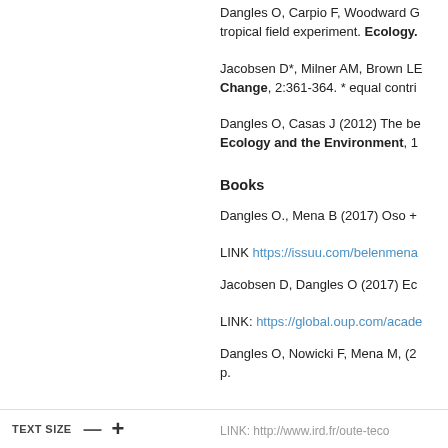Dangles O, Carpio F, Woodward G, tropical field experiment. Ecology.
Jacobsen D*, Milner AM, Brown LE, Change, 2:361-364. * equal contributors
Dangles O, Casas J (2012) The be Ecology and the Environment, 1
Books
Dangles O., Mena B (2017) Oso +
LINK https://issuu.com/belenmena
Jacobsen D, Dangles O (2017) Ec
LINK: https://global.oup.com/acade
Dangles O, Nowicki F, Mena M, (2 p.
LINK: http://www.ird.fr/oute-teco